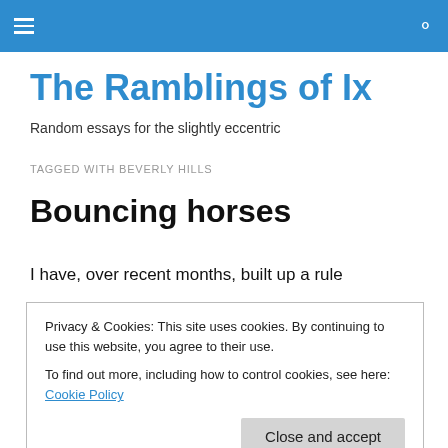The Ramblings of Ix — site header navigation bar
The Ramblings of Ix
Random essays for the slightly eccentric
TAGGED WITH BEVERLY HILLS
Bouncing horses
I have, over recent months, built up a rule concerning
Privacy & Cookies: This site uses cookies. By continuing to use this website, you agree to their use. To find out more, including how to control cookies, see here: Cookie Policy
them is sure to be incomplete and biased, which I try to